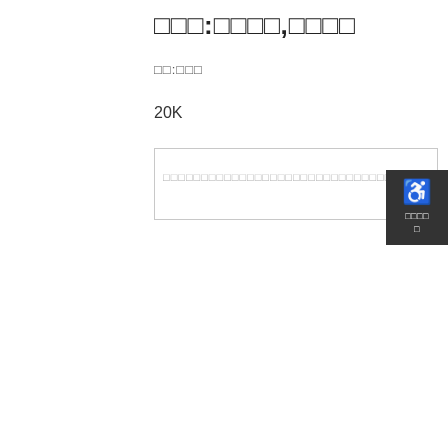□□□:□□□□,□□□□
□□:□□□
20K
[Figure (other): Input text box with placeholder text (redacted/corrupted characters) and an accessibility widget panel on the right side showing a wheelchair icon and text labels]
[Figure (other): Accessibility widget panel with wheelchair icon and text]